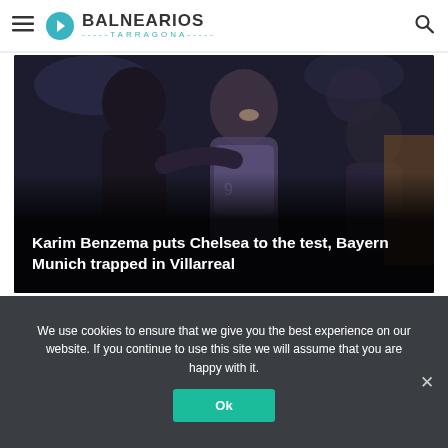Balnearios Tarragona — navigation header with hamburger menu and search icon
[Figure (photo): Two soccer players embracing and celebrating on the pitch; dark stadium background]
Karim Benzema puts Chelsea to the test, Bayern Munich trapped in Villarreal
Carousel navigation dots (1 active of 5)
We use cookies to ensure that we give you the best experience on our website. If you continue to use this site we will assume that you are happy with it.